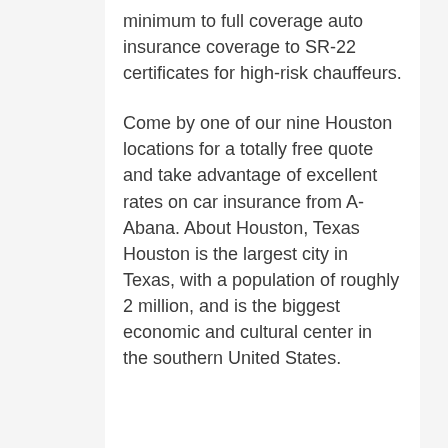minimum to full coverage auto insurance coverage to SR-22 certificates for high-risk chauffeurs.
Come by one of our nine Houston locations for a totally free quote and take advantage of excellent rates on car insurance from A-Abana. About Houston, Texas Houston is the largest city in Texas, with a population of roughly 2 million, and is the biggest economic and cultural center in the southern United States.